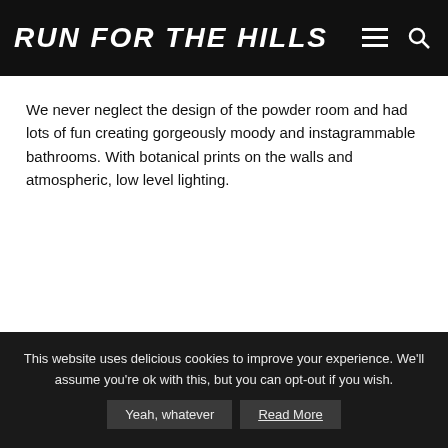RUN FOR THE HILLS
We never neglect the design of the powder room and had lots of fun creating gorgeously moody and instagrammable bathrooms. With botanical prints on the walls and atmospheric, low level lighting.
This website uses delicious cookies to improve your experience. We'll assume you're ok with this, but you can opt-out if you wish.  Yeah, whatever  Read More